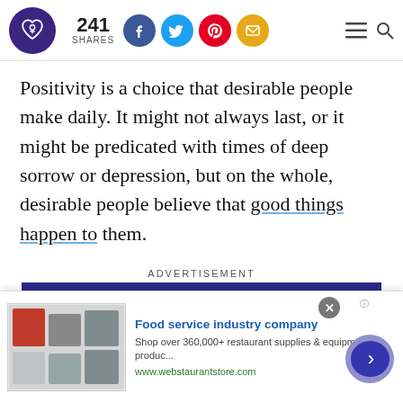241 SHARES — social sharing bar with Facebook, Twitter, Pinterest, Email icons
Positivity is a choice that desirable people make daily. It might not always last, or it might be predicated with times of deep sorrow or depression, but on the whole, desirable people believe that good things happen to them.
ADVERTISEMENT
[Figure (screenshot): YourTango advertisement banner in dark navy blue with logo text and close button]
[Figure (screenshot): Bottom ad strip: Food service industry company — Shop over 360,000+ restaurant supplies & equipment produc... www.webstaurantstore.com]